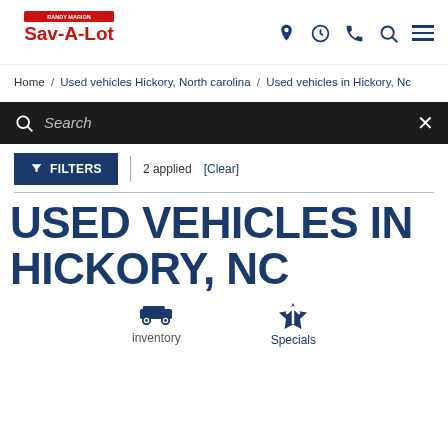Randy Marion Sav-A-Lot
Home / Used vehicles Hickory, North carolina / Used vehicles in Hickory, Nc
Search
FILTERS | 2 applied [Clear]
USED VEHICLES IN HICKORY, NC
inventory
Specials